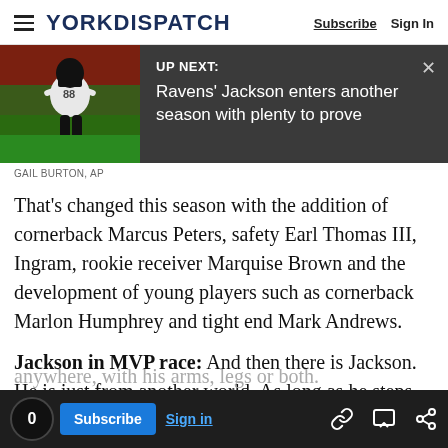YORK DISPATCH | Subscribe  Sign In
[Figure (screenshot): UP NEXT banner with football player photo and headline: Ravens' Jackson enters another season with plenty to prove]
GAIL BURTON, AP
That's changed this season with the addition of cornerback Marcus Peters, safety Earl Thomas III, Ingram, rookie receiver Marquise Brown and the development of young players such as cornerback Marlon Humphrey and tight end Mark Andrews.
Jackson in MVP race: And then there is Jackson. He is just from another world. As long as he steps anywhere, with his arms, legs or both.